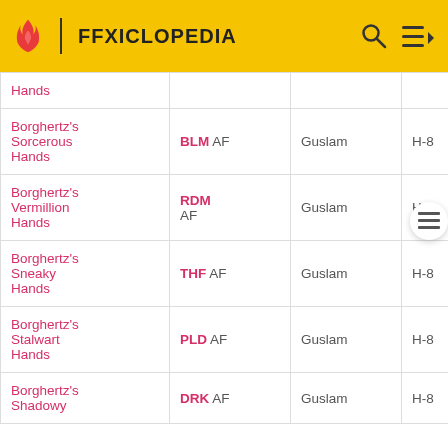FFXICLOPEDIA
| Name | Type | Zone | Level | Gil | ... |
| --- | --- | --- | --- | --- | --- |
| Hands |  |  |  |  |  |
| Borghertz's Sorcerous Hands | BLM AF | Guslam | H-8 | – |  |
| Borghertz's Vermillion Hands | RDM AF | Guslam | H-8 | – |  |
| Borghertz's Sneaky Hands | THF AF | Guslam | H-8 | – |  |
| Borghertz's Stalwart Hands | PLD AF | Guslam | H-8 | – |  |
| Borghertz's Shadowy ... | DRK AF | Guslam | H-8 | – |  |